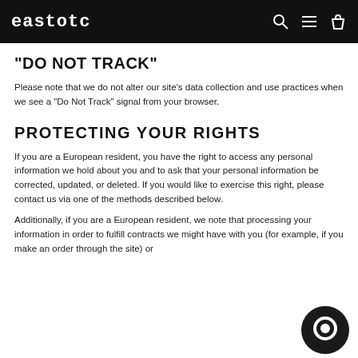eastotc
"DO NOT TRACK"
Please note that we do not alter our site’s data collection and use practices when we see a “Do Not Track” signal from your browser.
PROTECTING YOUR RIGHTS
If you are a European resident, you have the right to access any personal information we hold about you and to ask that your personal information be corrected, updated, or deleted. If you would like to exercise this right, please contact us via one of the methods described below.
Additionally, if you are a European resident, we note that processing your information in order to fulfill contracts we might have with you (for example, if you make an order through the site) or